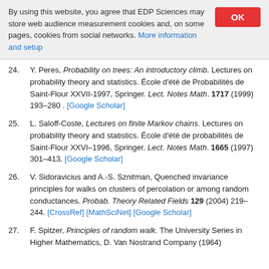By using this website, you agree that EDP Sciences may store web audience measurement cookies and, on some pages, cookies from social networks. More information and setup
24. Y. Peres, Probability on trees: An introductory climb. Lectures on probability theory and statistics. École d'été de Probabilités de Saint-Flour XXVII-1997, Springer. Lect. Notes Math. 1717 (1999) 193–280 . [Google Scholar]
25. L. Saloff-Coste, Lectures on finite Markov chains. Lectures on probability theory and statistics. École d'été de probabilités de Saint-Flour XXVI–1996, Springer. Lect. Notes Math. 1665 (1997) 301–413. [Google Scholar]
26. V. Sidoravicius and A.-S. Sznitman, Quenched invariance principles for walks on clusters of percolation or among random conductances. Probab. Theory Related Fields 129 (2004) 219–244. [CrossRef] [MathSciNet] [Google Scholar]
27. F. Spitzer, Principles of random walk. The University Series in Higher Mathematics, D. Van Nostrand Company (1964)